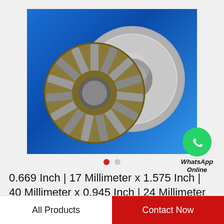[Figure (photo): Thrust needle roller bearing components shown on a blue background: a cage-and-roller assembly (round, with brass/gold colored cage and radial needle rollers) and a flat washer/race ring (grey metallic, circular with center hole), displayed overlapping each other.]
WhatsApp Online
0.669 Inch | 17 Millimeter x 1.575 Inch | 40 Millimeter x 0.945 Inch | 24 Millimeter NTN…
All Products
Contact Now